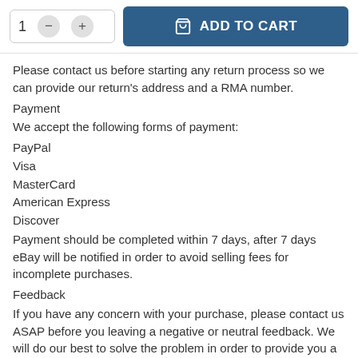[Figure (screenshot): Add to cart UI with quantity selector (1, minus, plus buttons) and a blue ADD TO CART button with shopping bag icon]
Please contact us before starting any return process so we can provide our return's address and a RMA number.
Payment
We accept the following forms of payment:
PayPal
Visa
MasterCard
American Express
Discover
Payment should be completed within 7 days, after 7 days eBay will be notified in order to avoid selling fees for incomplete purchases.
Feedback
If you have any concern with your purchase, please contact us ASAP before you leaving a negative or neutral feedback. We will do our best to solve the problem in order to provide you a positive purchase experience.
If you are satisfied with this purchase, please leave us a positive...